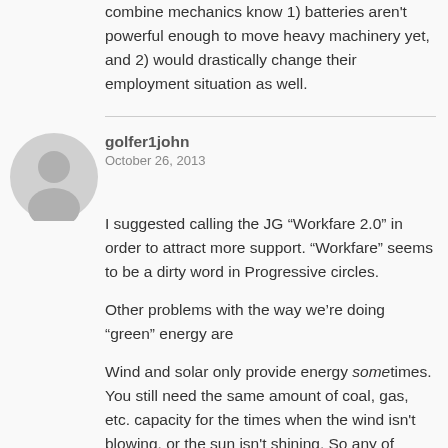combine mechanics know 1) batteries aren't powerful enough to move heavy machinery yet, and 2) would drastically change their employment situation as well.
golfer1john
October 26, 2013
[Figure (illustration): Gray circular avatar/profile icon]
I suggested calling the JG “Workfare 2.0” in order to attract more support. “Workfare” seems to be a dirty word in Progressive circles.
Other problems with the way we’re doing “green” energy are
Wind and solar only provide energy sometimes. You still need the same amount of coal, gas, etc. capacity for the times when the wind isn't blowing, or the sun isn't shining. So any of those solutions must be in addition to building conventional plants, not instead of.
It is usually overlooked that the electric generating plant that makes the electricity to run an electric car produces more carbon than is produced by a gasoline-powered car doing the same job.